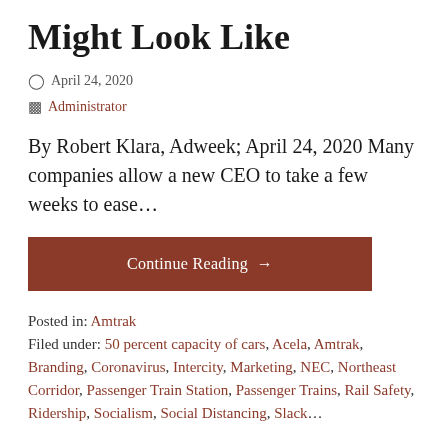Might Look Like
April 24, 2020
Administrator
By Robert Klara, Adweek; April 24, 2020 Many companies allow a new CEO to take a few weeks to ease…
Continue Reading →
Posted in: Amtrak
Filed under: 50 percent capacity of cars, Acela, Amtrak, Branding, Coronavirus, Intercity, Marketing, NEC, Northeast Corridor, Passenger Train Station, Passenger Trains, Rail Safety, Ridership, Socialism, Social Distancing, Slack…